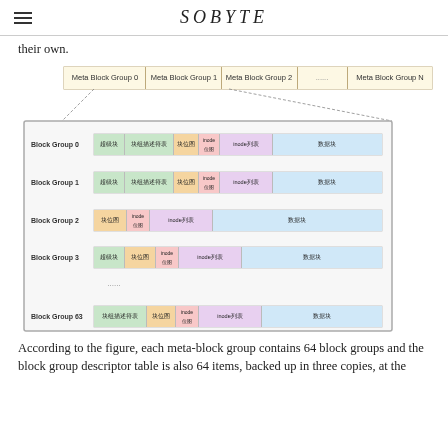SOBYTE
their own.
[Figure (schematic): Diagram showing Meta Block Groups 0, 1, 2, ......, N at the top, connected by dashed lines to a box containing Block Group 0 through Block Group 63, each showing segments: 超级块, 块组描述符表, 块位图, inode位图, inode列表, 数据块 (with varying combinations)]
According to the figure, each meta-block group contains 64 block groups and the block group descriptor table is also 64 items, backed up in three copies, at the